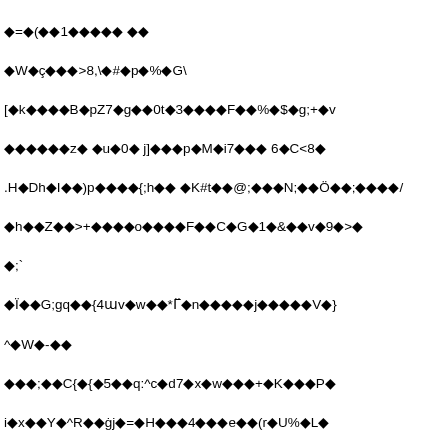Corrupted/encoded binary text content rendered as diamond replacement characters mixed with ASCII symbols and alphanumeric characters across multiple lines.